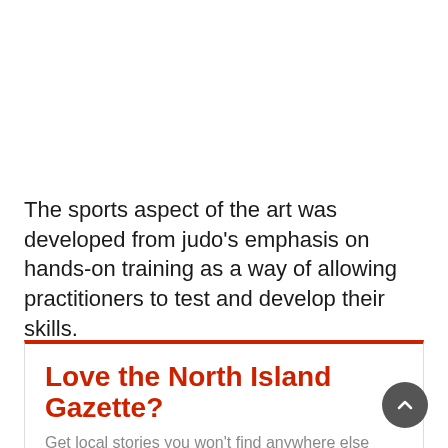The sports aspect of the art was developed from judo's emphasis on hands-on training as a way of allowing practitioners to test and develop their skills.
Love the North Island Gazette?
Get local stories you won't find anywhere else right to your inbox.